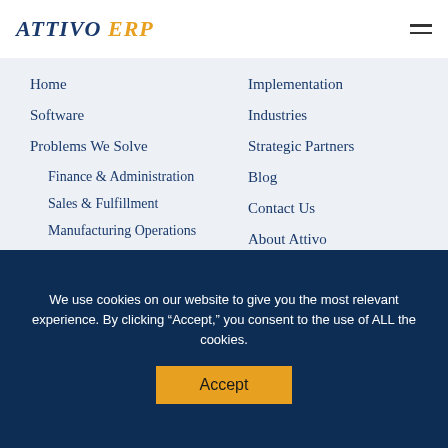ATTIVO ERP
Home
Software
Problems We Solve
Finance & Administration
Sales & Fulfillment
Manufacturing Operations
Inventory Management
Implementation
Industries
Strategic Partners
Blog
Contact Us
About Attivo
QUESTIONS?
REQUEST MORE INFO
We use cookies on our website to give you the most relevant experience. By clicking “Accept,” you consent to the use of ALL the cookies.
Accept